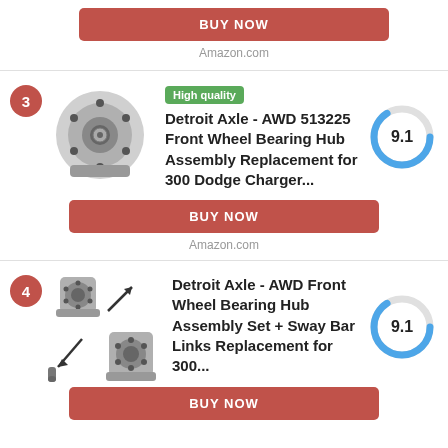BUY NOW
Amazon.com
[Figure (photo): Wheel bearing hub assembly part photo for item 3]
High quality
Detroit Axle - AWD 513225 Front Wheel Bearing Hub Assembly Replacement for 300 Dodge Charger...
[Figure (donut-chart): Score circle showing 9.1 rating]
BUY NOW
Amazon.com
[Figure (photo): Wheel bearing hub assembly set with sway bar links, item 4 product photo]
Detroit Axle - AWD Front Wheel Bearing Hub Assembly Set + Sway Bar Links Replacement for 300...
[Figure (donut-chart): Score circle showing 9.1 rating]
BUY NOW